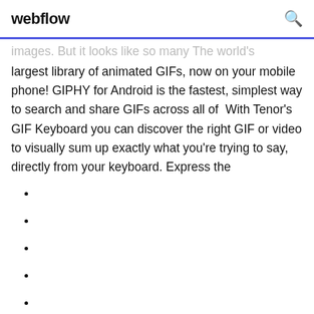webflow
images. But it looks like so many  The world's largest library of animated GIFs, now on your mobile phone! GIPHY for Android is the fastest, simplest way to search and share GIFs across all of  With Tenor's GIF Keyboard you can discover the right GIF or video to visually sum up exactly what you're trying to say, directly from your keyboard. Express the